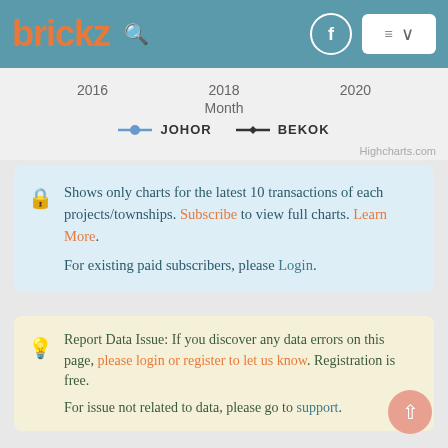brickz
[Figure (line-chart): Partial line chart showing x-axis labels 2016, 2018, 2020 with Month label, and legend showing JOHOR (blue line with circle marker) and BEKOK (black line with diamond marker). Highcharts.com credit shown.]
Shows only charts for the latest 10 transactions of each projects/townships. Subscribe to view full charts. Learn More. For existing paid subscribers, please Login.
Report Data Issue: If you discover any data errors on this page, please login or register to let us know. Registration is free. For issue not related to data, please go to support.